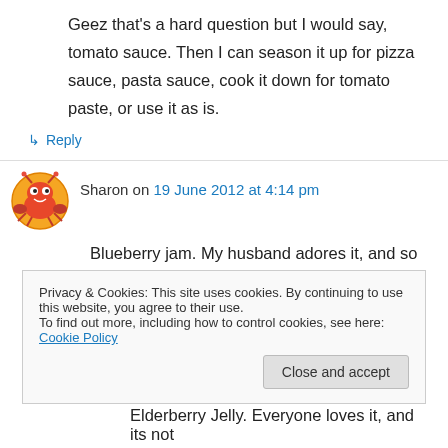Geez that's a hard question but I would say, tomato sauce. Then I can season it up for pizza sauce, pasta sauce, cook it down for tomato paste, or use it as is.
↳ Reply
Sharon on 19 June 2012 at 4:14 pm
Blueberry jam. My husband adores it, and so do I. Yes, I'm not afraid to admit it.
Privacy & Cookies: This site uses cookies. By continuing to use this website, you agree to their use.
To find out more, including how to control cookies, see here: Cookie Policy
Close and accept
Elderberry Jelly. Everyone loves it, and its not